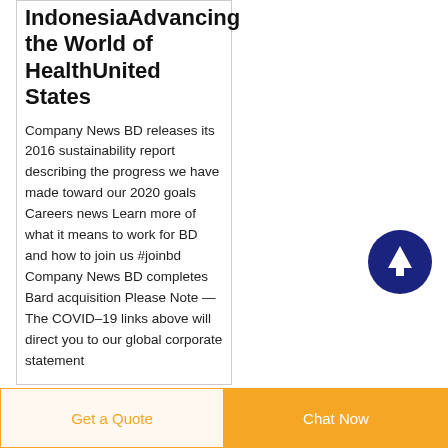IndonesiaAdvancing the World of HealthUnited States
Company News BD releases its 2016 sustainability report describing the progress we have made toward our 2020 goals Careers news Learn more of what it means to work for BD and how to join us #joinbd Company News BD completes Bard acquisition Please Note — The COVID–19 links above will direct you to our global corporate statement
[Figure (other): Dark navy blue circular button with white upward arrow icon, used as a scroll-to-top button]
Get a Quote
Chat Now